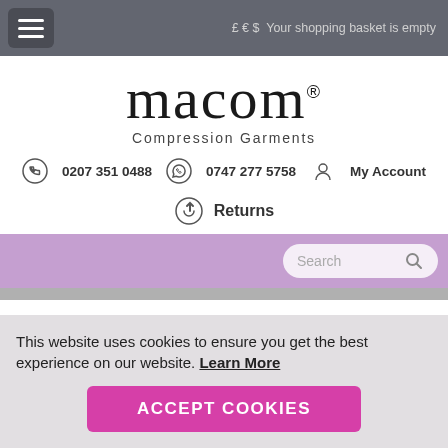£ € $ Your shopping basket is empty
macom® Compression Garments
0207 351 0488   0747 277 5758   My Account
Returns
[Figure (screenshot): Search bar with purple background and rounded search input]
This website uses cookies to ensure you get the best experience on our website. Learn More
ACCEPT COOKIES